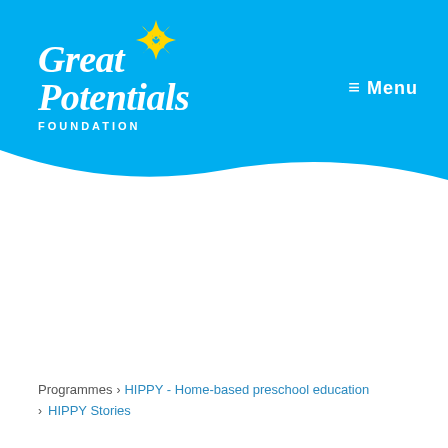[Figure (logo): Great Potentials Foundation logo — white script text 'Great Potentials' with yellow star, subtitle 'FOUNDATION' in white uppercase letters, on blue background header]
≡ Menu
Programmes › HIPPY - Home-based preschool education › HIPPY Stories